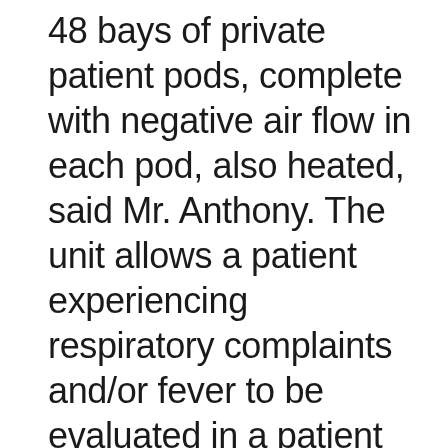48 bays of private patient pods, complete with negative air flow in each pod, also heated, said Mr. Anthony. The unit allows a patient experiencing respiratory complaints and/or fever to be evaluated in a patient pod, allowing medical staff to evaluate patients “thoroughly yet quickly,” he said.